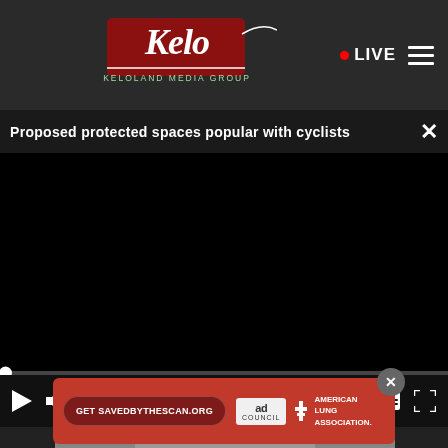[Figure (logo): Kelo / Keloland Media Group logo on dark navigation bar with LIVE indicator and hamburger menu]
Proposed protected spaces popular with cyclists
[Figure (screenshot): Video player with black screen showing 00:00, play button, mute button, captions button, fullscreen button, and scrubber at start]
[Figure (photo): Partial photo of a woman with white/grey hair and glasses in background]
[Figure (screenshot): Ad banner: Get SAVEDBYTHESCAN.ORG | Ad Council | American Lung Association logo on red background with close button]